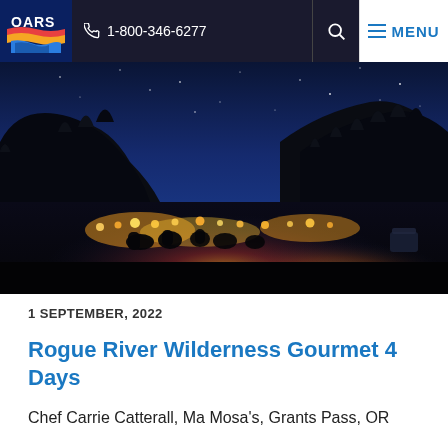1-800-346-6277 | MENU
[Figure (photo): Nighttime campfire scene by a river with silhouettes of people gathered around a long string of lights, dark forest-covered hillsides and deep blue starry sky in background]
1 SEPTEMBER, 2022
Rogue River Wilderness Gourmet 4 Days
Chef Carrie Catterall, Ma Mosa's, Grants Pass, OR